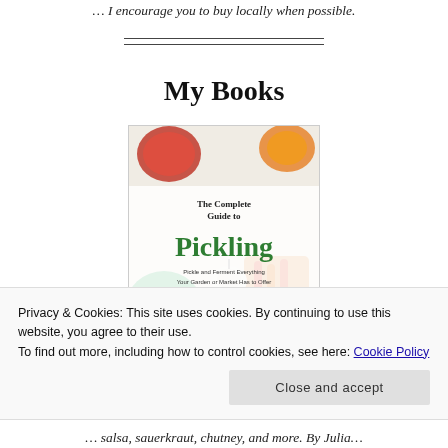… I encourage you to buy locally when possible.
My Books
[Figure (photo): Book cover of 'The Complete Guide to Pickling: Pickle and Ferment Everything Your Garden or Market Has to Offer' showing various pickled vegetables including cucumbers, carrots, peppers, and garlic on a white background]
Privacy & Cookies: This site uses cookies. By continuing to use this website, you agree to their use.
To find out more, including how to control cookies, see here: Cookie Policy
Close and accept
… salsa, sauerkraut, chutney, and more. By Julia…